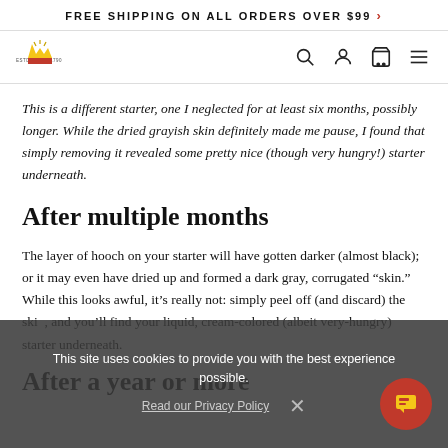FREE SHIPPING ON ALL ORDERS OVER $99 >
[Figure (logo): King Arthur Baking Company logo with crown and wheat design, ESTD 1790, with navigation icons (search, account, cart, menu)]
This is a different starter, one I neglected for at least six months, possibly longer. While the dried grayish skin definitely made me pause, I found that simply removing it revealed some pretty nice (though very hungry!) starter underneath.
After multiple months
The layer of hooch on your starter will have gotten darker (almost black); or it may even have dried up and formed a dark gray, corrugated "skin." While this looks awful, it's really not: simply peel off (and discard) the skin, and you'll find your liquid, cream-colored (albeit very-hungry) starter underneath.
After a year or more
This site uses cookies to provide you with the best experience possible.
Read our Privacy Policy   ×